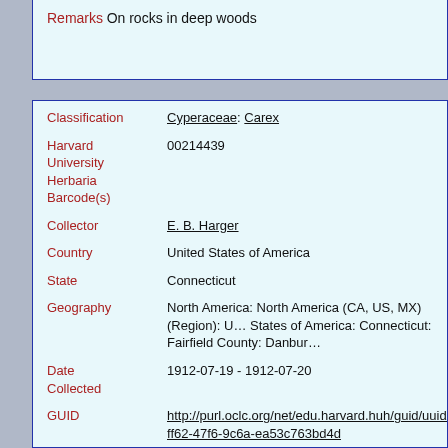Remarks On rocks in deep woods
| Field | Value |
| --- | --- |
| Classification | Cyperaceae: Carex |
| Harvard University Herbaria Barcode(s) | 00214439 |
| Collector | E. B. Harger |
| Country | United States of America |
| State | Connecticut |
| Geography | North America: North America (CA, US, MX) (Region): United States of America: Connecticut: Fairfield County: Danbury |
| Date Collected | 1912-07-19 - 1912-07-20 |
| GUID | http://purl.oclc.org/net/edu.harvard.huh/guid/uuid/0fa-ff62-47f6-9c6a-ea53c763bd4d |
| Harvard University Herbaria Barcode | 00214439 |
| Herbarium | NEBC |